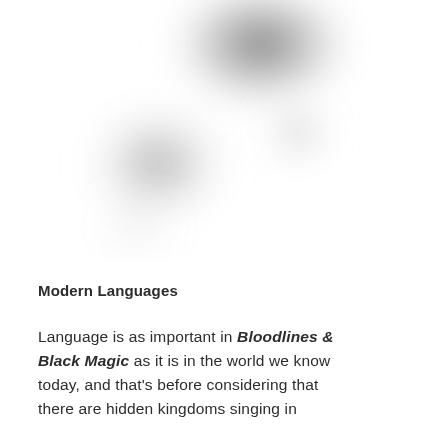[Figure (photo): A blurred grayscale photograph showing an abstract or figurative subject, centered in the upper portion of the page.]
Modern Languages
Language is as important in Bloodlines & Black Magic as it is in the world we know today, and that’s before considering that there are hidden kingdoms singing in